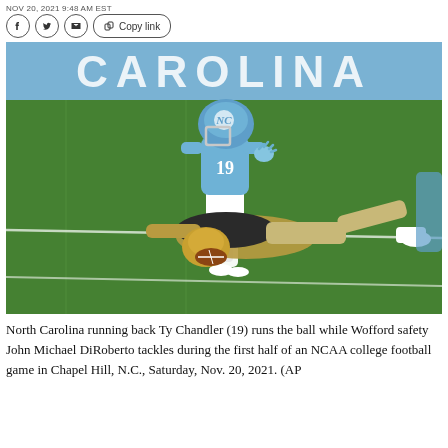NOV 20, 2021 9:48 AM EST
[Figure (photo): North Carolina running back Ty Chandler (19) runs the ball while a Wofford safety tackles him during the first half of an NCAA college football game at Chapel Hill. Chandler wears light blue UNC uniform number 19, the opposing player in dark/gold uniform is on the ground.]
North Carolina running back Ty Chandler (19) runs the ball while Wofford safety John Michael DiRoberto tackles during the first half of an NCAA college football game in Chapel Hill, N.C., Saturday, Nov. 20, 2021. (AP